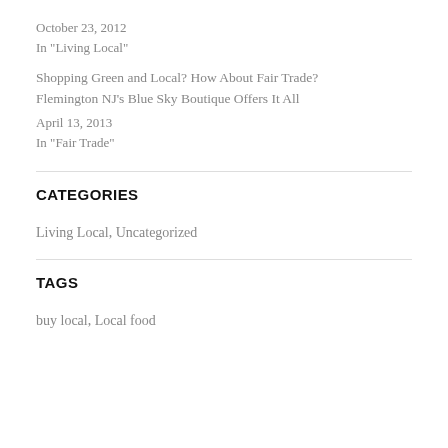October 23, 2012
In "Living Local"
Shopping Green and Local? How About Fair Trade? Flemington NJ's Blue Sky Boutique Offers It All
April 13, 2013
In "Fair Trade"
CATEGORIES
Living Local, Uncategorized
TAGS
buy local, Local food